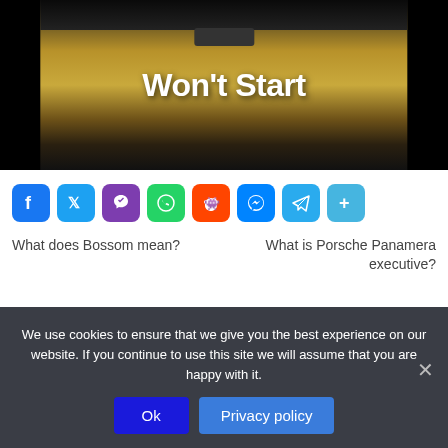[Figure (photo): A dark photo of a truck in dry grass with bold white text overlay reading "Won't Start"]
[Figure (infographic): Row of social media share icons: Facebook, Twitter, Viber, WhatsApp, Reddit, Messenger, Telegram, Share/Plus]
What does Bossom mean?
What is Porsche Panamera executive?
We use cookies to ensure that we give you the best experience on our website. If you continue to use this site we will assume that you are happy with it.
Ok
Privacy policy